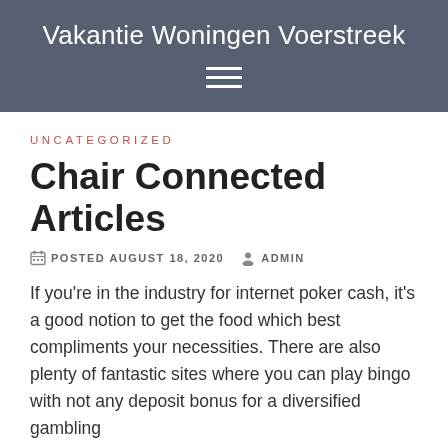Vakantie Woningen Voerstreek
UNCATEGORIZED
Chair Connected Articles
POSTED AUGUST 18, 2020   ADMIN
If you're in the industry for internet poker cash, it's a good notion to get the food which best compliments your necessities. There are also plenty of fantastic sites where you can play bingo with not any deposit bonus for a diversified gambling